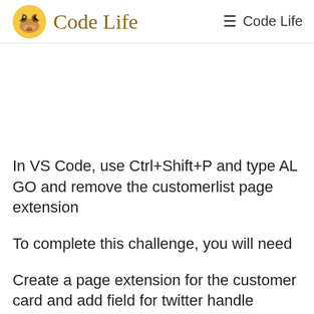Code Life
In VS Code, use Ctrl+Shift+P and type AL GO and remove the customerlist page extension
To complete this challenge, you will need
Create a page extension for the customer card and add field for twitter handle
Add the Twitter Feed card part to customer